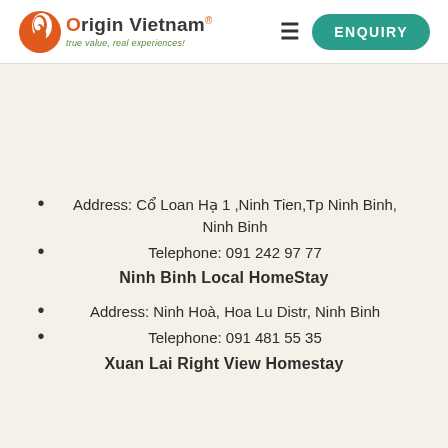Origin Vietnam® - true value, real experiences! | ENQUIRY
Address: Cổ Loan Hạ 1 ,Ninh Tien,Tp Ninh Binh, Ninh Binh
Telephone: 091 242 97 77
Ninh Binh Local HomeStay
Address: Ninh Hoà, Hoa Lu Distr, Ninh Binh
Telephone: 091 481 55 35
Xuan Lai Right View Homestay